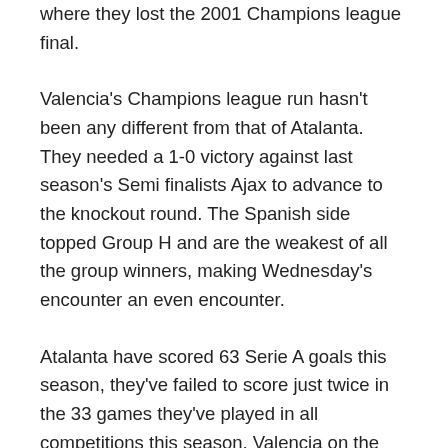where they lost the 2001 Champions league final.
Valencia's Champions league run hasn't been any different from that of Atalanta. They needed a 1-0 victory against last season's Semi finalists Ajax to advance to the knockout round. The Spanish side topped Group H and are the weakest of all the group winners, making Wednesday's encounter an even encounter.
Atalanta have scored 63 Serie A goals this season, they've failed to score just twice in the 33 games they've played in all competitions this season. Valencia on the other hand have conceded over 2 goals per away game in the league this season, but they've conceded just one away from home in the